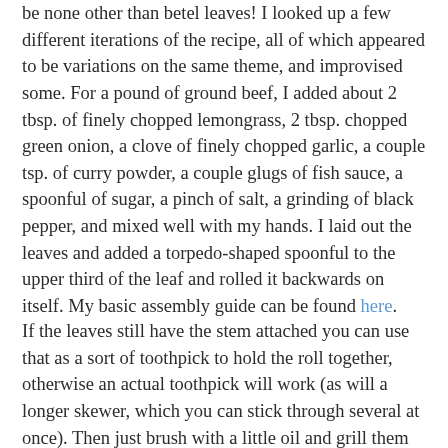be none other than betel leaves! I looked up a few different iterations of the recipe, all of which appeared to be variations on the same theme, and improvised some. For a pound of ground beef, I added about 2 tbsp. of finely chopped lemongrass, 2 tbsp. chopped green onion, a clove of finely chopped garlic, a couple tsp. of curry powder, a couple glugs of fish sauce, a spoonful of sugar, a pinch of salt, a grinding of black pepper, and mixed well with my hands. I laid out the leaves and added a torpedo-shaped spoonful to the upper third of the leaf and rolled it backwards on itself. My basic assembly guide can be found here.
If the leaves still have the stem attached you can use that as a sort of toothpick to hold the roll together, otherwise an actual toothpick will work (as will a longer skewer, which you can stick through several at once). Then just brush with a little oil and grill them in a hot grill pan:
[Figure (photo): A black grill pan containing green betel leaf rolls being grilled, with a yellow bread tin and decorative plate visible in the background.]